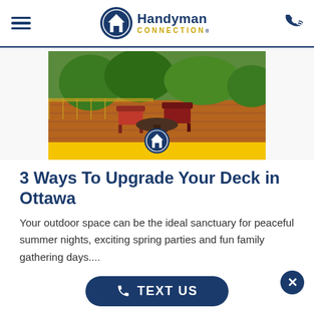Handyman Connection — navigation header with hamburger menu and phone icon
[Figure (photo): Outdoor deck with red patio chairs and furniture on warm wood decking, green trees in background. Handyman Connection logo circle overlay at bottom center. Yellow banner strip below image.]
3 Ways To Upgrade Your Deck in Ottawa
Your outdoor space can be the ideal sanctuary for peaceful summer nights, exciting spring parties and fun family gathering days....